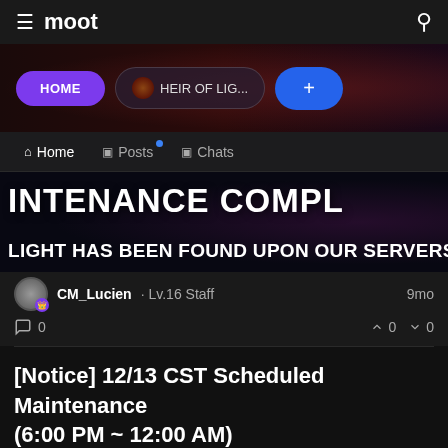moot
[Figure (screenshot): Navigation banner with HOME, HEIR OF LIG..., and + buttons]
Home · Posts · Chats navigation tabs
[Figure (screenshot): Post banner image showing 'INTENANCE COMPL / LIGHT HAS BEEN FOUND UPON OUR SERVERS']
CM_Lucien · Lv.16 Staff  9mo
0  0  0
[Notice] 12/13 CST Scheduled Maintenance (6:00 PM ~ 12:00 AM)
[Figure (photo): Partial thumbnail of a second post at the bottom]